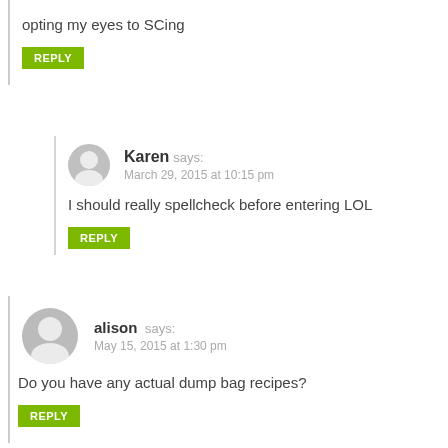opting my eyes to SCing
REPLY
Karen says: March 29, 2015 at 10:15 pm
I should really spellcheck before entering LOL
REPLY
alison says: May 15, 2015 at 1:30 pm
Do you have any actual dump bag recipes?
REPLY